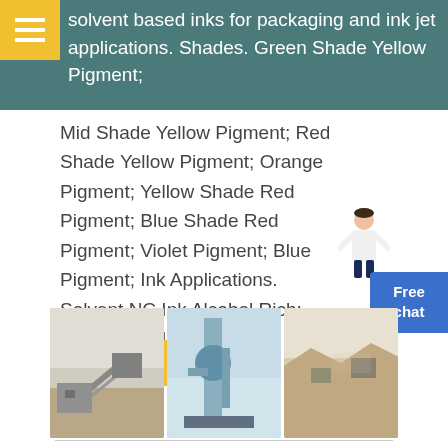solvent based inks for packaging and ink jet applications. Shades. Green Shade Yellow Pigment; Mid Shade Yellow Pigment; Red Shade Yellow Pigment; Orange Pigment; Yellow Shade Red Pigment; Blue Shade Red Pigment; Violet Pigment; Blue Pigment; Ink Applications. Solvent NC Ink Alcohol Rich; Solvent NC Ink Ester Rich
GET PRICE
[Figure (photo): Three industrial facility photos side by side: a mining/crushing plant, a tall industrial processing tower, and a quarry/mining operation]